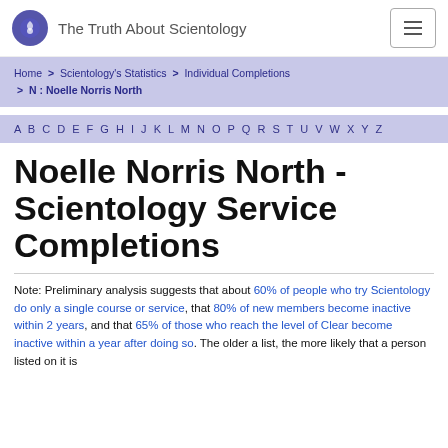The Truth About Scientology
Home > Scientology's Statistics > Individual Completions > N : Noelle Norris North
A B C D E F G H I J K L M N O P Q R S T U V W X Y Z
Noelle Norris North - Scientology Service Completions
Note: Preliminary analysis suggests that about 60% of people who try Scientology do only a single course or service, that 80% of new members become inactive within 2 years, and that 65% of those who reach the level of Clear become inactive within a year after doing so. The older a list, the more likely that a person listed on it is